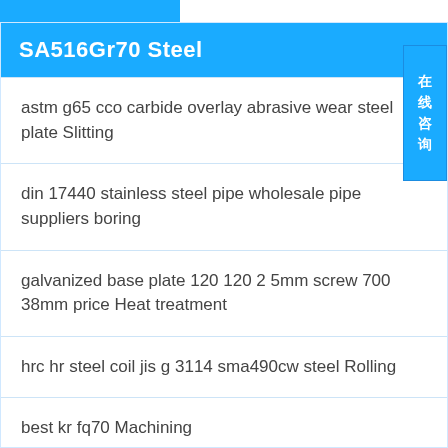SA516Gr70 Steel
astm g65 cco carbide overlay abrasive wear steel plate Slitting
din 17440 stainless steel pipe wholesale pipe suppliers boring
galvanized base plate 120 120 2 5mm screw 700 38mm price Heat treatment
hrc hr steel coil jis g 3114 sma490cw steel Rolling
best kr fq70 Machining
s30100 tisco 304 316l 321 430 polishing